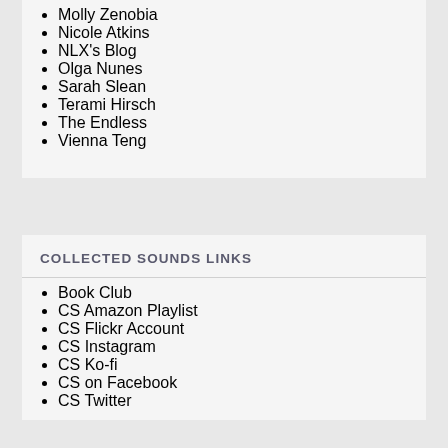Molly Zenobia
Nicole Atkins
NLX's Blog
Olga Nunes
Sarah Slean
Terami Hirsch
The Endless
Vienna Teng
COLLECTED SOUNDS LINKS
Book Club
CS Amazon Playlist
CS Flickr Account
CS Instagram
CS Ko-fi
CS on Facebook
CS Twitter